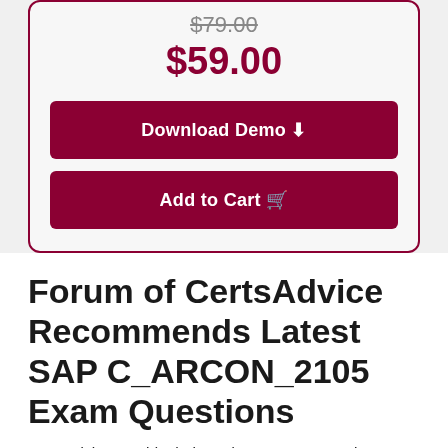$79.00 (strikethrough)
$59.00
Download Demo ⬇
Add to Cart 🛒
Forum of CertsAdvice Recommends Latest SAP C_ARCON_2105 Exam Questions
CertsAdvice provide their students' an opportunity to prepare SAP C_ARCON_2105 through real PDF exam questions and answers